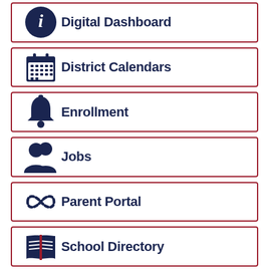Digital Dashboard
District Calendars
Enrollment
Jobs
Parent Portal
School Directory